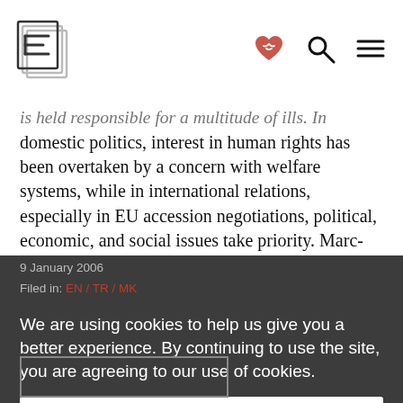Eurozine logo with search and menu icons
is held responsible for a multitude of ills. In domestic politics, interest in human rights has been overtaken by a concern with welfare systems, while in international relations, especially in EU accession negotiations, political, economic, and social issues take priority. Marc-Olivier Padis, editor of Esprit, defends democracy's radical commitment to the politics of human rights.
9 January 2006
Filed in: EN / TR / MK
We are using cookies to help us give you a better experience. By continuing to use the site, you are agreeing to our use of cookies.
Confirm